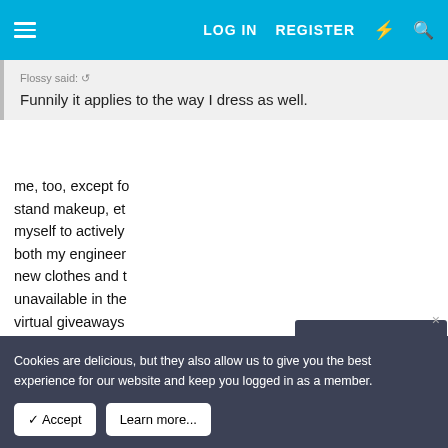LOG IN   REGISTER
Flossy said: ↺
Funnily it applies to the way I dress as well.
me, too, except fo... stand makeup, et... myself to actively... both my engineer... new clothes and ... unavailable in the... virtual giveaways... fancy, but still the... get dresses even cheaper, but I wasn't bold enough to wear a dress into an engineer gathering. at that stage, i didn't even
Daily Dose
Each day, we'll send you an email containing links to the previous day's new topics.
CLICK TO SUBSCRIBE
Cookies are delicious, but they also allow us to give you the best experience for our website and keep you logged in as a member.
✓ Accept   Learn more...